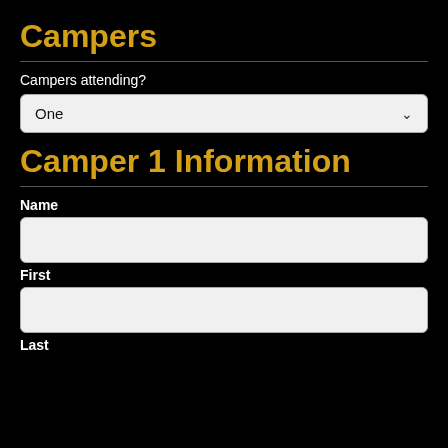Campers
Campers attending?
One
Camper 1 Information
Name
First
Last